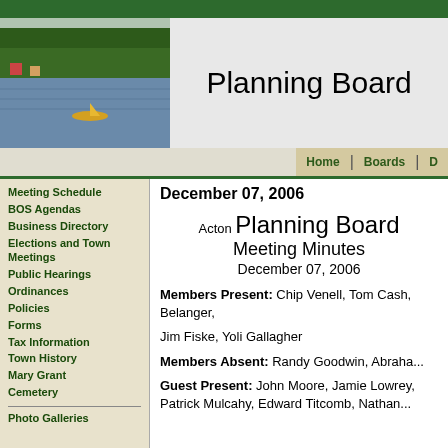[Figure (photo): Lakeside photo with trees and a boat on water]
Planning Board
Home  Boards  D...
December 07, 2006
Meeting Schedule
BOS Agendas
Business Directory
Elections and Town Meetings
Public Hearings
Ordinances
Policies
Forms
Tax Information
Town History
Mary Grant
Cemetery
Photo Galleries
Acton Planning Board
Meeting Minutes
December 07, 2006
Members Present:  Chip Venell, Tom Cash, Belanger,
Jim Fiske, Yoli Gallagher
Members Absent: Randy Goodwin, Abraha...
Guest Present: John Moore, Jamie Lowrey, Patrick Mulcahy, Edward Titcomb, Nathan...